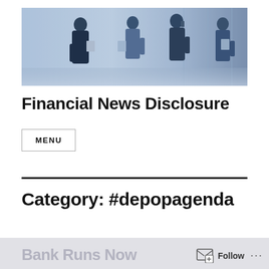[Figure (photo): Banner photo showing four business professionals in silhouette standing and talking in a bright, blue-tinted office environment.]
Financial News Disclosure
MENU
Category: #depopagenda
Bank Runs Now